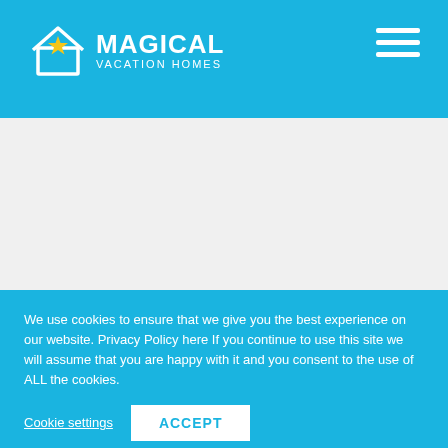MAGICAL VACATION HOMES
by Kristin on 03/29/2016
Five out of five stars.
[Figure (illustration): Five gold star rating icons displayed in a row]
We use cookies to ensure that we give you the best experience on our website. Privacy Policy here If you continue to use this site we will assume that you are happy with it and you consent to the use of ALL the cookies.
Cookie settings | ACCEPT